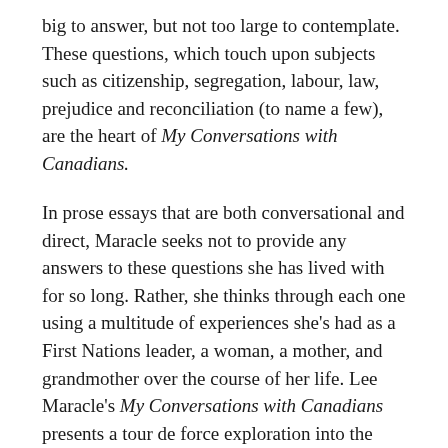big to answer, but not too large to contemplate. These questions, which touch upon subjects such as citizenship, segregation, labour, law, prejudice and reconciliation (to name a few), are the heart of My Conversations with Canadians.
In prose essays that are both conversational and direct, Maracle seeks not to provide any answers to these questions she has lived with for so long. Rather, she thinks through each one using a multitude of experiences she's had as a First Nations leader, a woman, a mother, and grandmother over the course of her life. Lee Maracle's My Conversations with Canadians presents a tour de force exploration into the writer's own history and a reimagining of the future of our nation.
Praise for My Conversations with Canadians